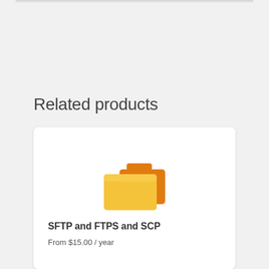Related products
[Figure (illustration): Folder icon — a classic orange/yellow open folder graphic representing SFTP/FTPS/SCP file transfer product]
SFTP and FTPS and SCP
From $15.00 / year